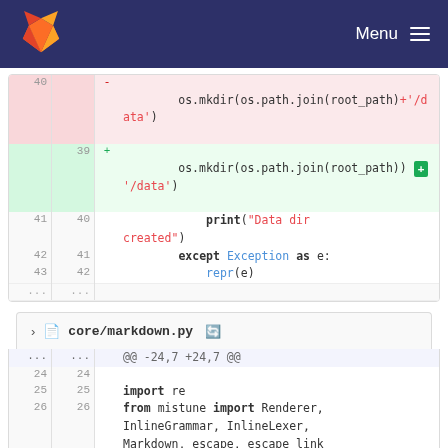[Figure (screenshot): GitLab navigation bar with fox logo and Menu button]
Code diff showing changes to a Python file. Lines 40-43 show deletion of os.mkdir(os.path.join(root_path)+'/data') and addition of os.mkdir(os.path.join(root_path) + '/data'), followed by print("Data dir created"), except Exception as e:, repr(e)
File header: core/markdown.py. Hunk: @@ -24,7 +24,7 @@. Lines 24-26 showing: import re, from mistune import Renderer, InlineGrammar, InlineLexer, Markdown, escape, escape_link